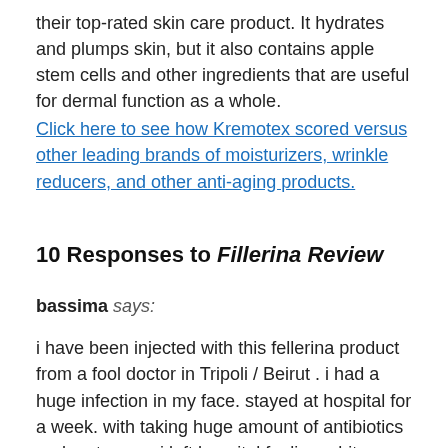their top-rated skin care product. It hydrates and plumps skin, but it also contains apple stem cells and other ingredients that are useful for dermal function as a whole.
Click here to see how Kremotex scored versus other leading brands of moisturizers, wrinkle reducers, and other anti-aging products.
10 Responses to Fillerina Review
bassima says:
i have been injected with this fellerina product from a fool doctor in Tripoli / Beirut . i had a huge infection in my face. stayed at hospital for a week. with taking huge amount of antibiotics and cortezone. i left hospital feeling a bit better.